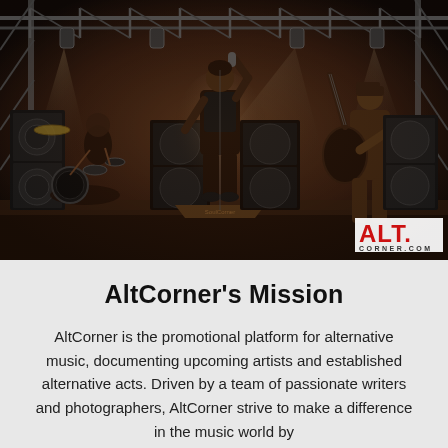[Figure (photo): Black and white / sepia-toned concert photo showing a band performing on stage. A singer stands at center front on a monitor wedge, holding a microphone. A drummer is visible on the left, and a guitarist is on the right. Stage trusses with lights are visible above. An 'ALT. CORNER.COM' logo watermark appears in the bottom right corner.]
AltCorner's Mission
AltCorner is the promotional platform for alternative music, documenting upcoming artists and established alternative acts. Driven by a team of passionate writers and photographers, AltCorner strive to make a difference in the music world by